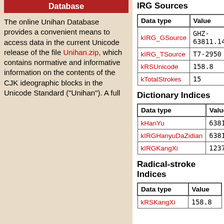Database
The online Unihan Database provides a convenient means to access data in the current Unicode release of the file Unihan.zip, which contains normative and informative information on the contents of the CJK ideographic blocks in the Unicode Standard ("Unihan"). A full
IRG Sources
| Data type | Value |
| --- | --- |
| kIRG_GSource | GHZ-63811.14 |
| kIRG_TSource | T7-2950 |
| kRSUnicode | 158.8 |
| kTotalStrokes | 15 |
Dictionary Indices
| Data type | Value |
| --- | --- |
| kHanYu | 63811.140 |
| kIRGHanyuDaZidian | 63811.140 |
| kIRGKangXi | 1237.581 |
Radical-stroke Indices
| Data type | Value |
| --- | --- |
| kRSKangXi | 158.8 |